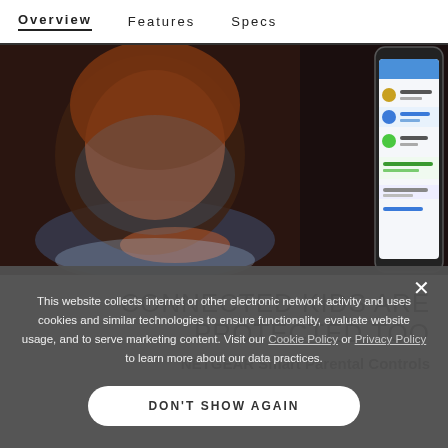Overview   Features   Specs
[Figure (photo): Child looking at a glowing tablet device under blanket, with a smartphone showing parental controls app overlay on the right side]
CONNECTED KIDS ARE PROTECTED TOO
NETGEAR Smart Parental Controls
This website collects internet or other electronic network activity and uses cookies and similar technologies to ensure functionality, evaluate website usage, and to serve marketing content. Visit our Cookie Policy or Privacy Policy to learn more about our data practices.
DON'T SHOW AGAIN